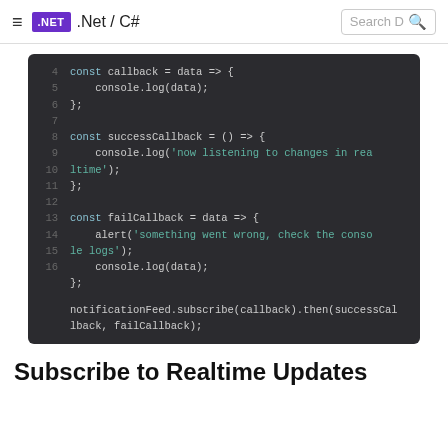.Net / C#
[Figure (screenshot): Dark-themed code block showing JavaScript lines 4-17 with const callback, successCallback, failCallback definitions and a notificationFeed.subscribe call]
Subscribe to Realtime Updates